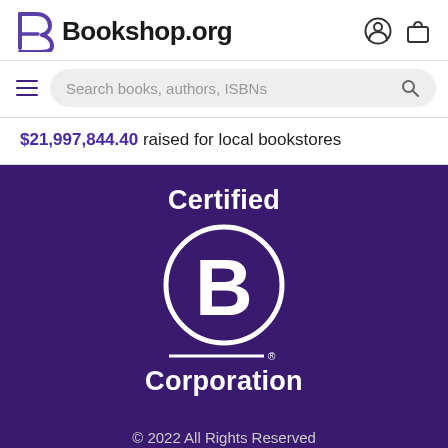Bookshop.org
Search books, authors, ISBNs
$21,997,844.40 raised for local bookstores
[Figure (logo): Certified B Corporation logo on dark purple background with white circle containing stylized B, horizontal rule, and text 'Certified' above and 'Corporation' below]
© 2022 All Rights Reserved